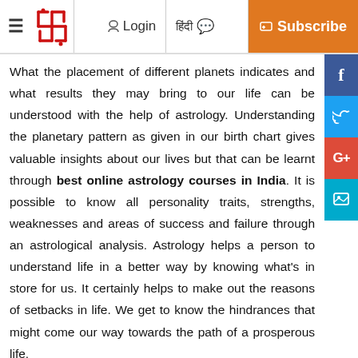≡  [logo]  Login  हिंदी  Subscribe
What the placement of different planets indicates and what results they may bring to our life can be understood with the help of astrology. Understanding the planetary pattern as given in our birth chart gives valuable insights about our lives but that can be learnt through best online astrology courses in India. It is possible to know all personality traits, strengths, weaknesses and areas of success and failure through an astrological analysis. Astrology helps a person to understand life in a better way by knowing what's in store for us. It certainly helps to make out the reasons of setbacks in life. We get to know the hindrances that might come our way towards the path of a prosperous life.
The 12 Zodiac signs
Astrology revolves around the 12 signs of the zodiac. Each